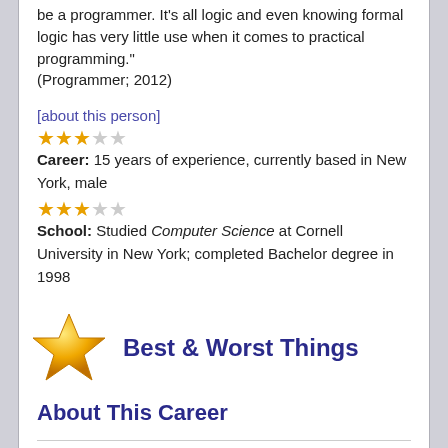be a programmer. It's all logic and even knowing formal logic has very little use when it comes to practical programming." (Programmer; 2012)
[about this person]
Career: 15 years of experience, currently based in New York, male
School: Studied Computer Science at Cornell University in New York; completed Bachelor degree in 1998
Best & Worst Things
About This Career
Programmer: "The best part of my job is the people I work with. Having good people